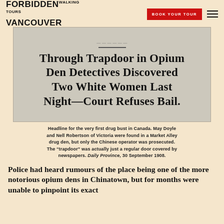FORBIDDEN VANCOUVER WALKING TOURS | BOOK YOUR TOUR
[Figure (photo): Scanned black-and-white newspaper clipping with headline: Through Trapdoor in Opium Den Detectives Discovered Two White Women Last Night—Court Refuses Bail.]
Headline for the very first drug bust in Canada. May Doyle and Nell Robertson of Victoria were found in a Market Alley drug den, but only the Chinese operator was prosecuted. The "trapdoor" was actually just a regular door covered by newspapers. Daily Province, 30 September 1908.
Police had heard rumours of the place being one of the more notorious opium dens in Chinatown, but for months were unable to pinpoint its exact